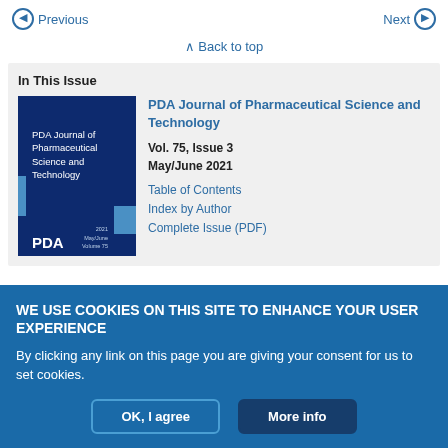Previous   Next
Back to top
In This Issue
[Figure (illustration): Cover of PDA Journal of Pharmaceutical Science and Technology, Vol. 75, May/June 2021, dark navy blue background]
PDA Journal of Pharmaceutical Science and Technology
Vol. 75, Issue 3
May/June 2021
Table of Contents
Index by Author
Complete Issue (PDF)
WE USE COOKIES ON THIS SITE TO ENHANCE YOUR USER EXPERIENCE
By clicking any link on this page you are giving your consent for us to set cookies.
OK, I agree   More info